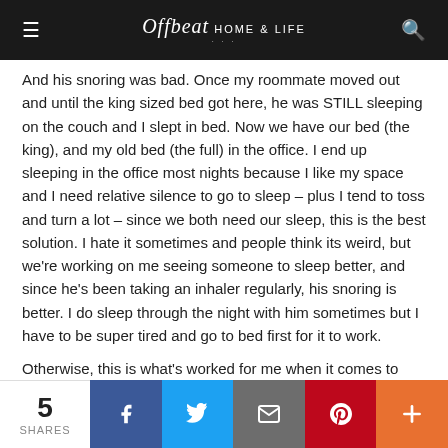Offbeat Home & Life
And his snoring was bad. Once my roommate moved out and until the king sized bed got here, he was STILL sleeping on the couch and I slept in bed. Now we have our bed (the king), and my old bed (the full) in the office. I end up sleeping in the office most nights because I like my space and I need relative silence to go to sleep – plus I tend to toss and turn a lot – since we both need our sleep, this is the best solution. I hate it sometimes and people think its weird, but we're working on me seeing someone to sleep better, and since he's been taking an inhaler regularly, his snoring is better. I do sleep through the night with him sometimes but I have to be super tired and go to bed first for it to work.
Otherwise, this is what's worked for me when it comes to
5 SHARES  Facebook  Twitter  Email  Pinterest  More